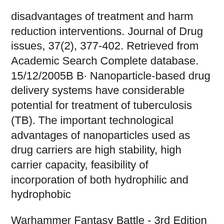disadvantages of treatment and harm reduction interventions. Journal of Drug issues, 37(2), 377-402. Retrieved from Academic Search Complete database. 15/12/2005B B· Nanoparticle-based drug delivery systems have considerable potential for treatment of tuberculosis (TB). The important technological advantages of nanoparticles used as drug carriers are high stability, high carrier capacity, feasibility of incorporation of both hydrophilic and hydrophobic
Warhammer Fantasy Battle - 3rd Edition Rulebook - Ebook download as PDF File (.pdf) or read book online. Warhammer fantasy battle 3rd edition pdf Australian